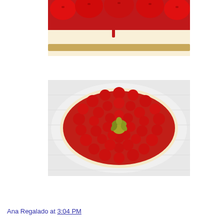[Figure (photo): Close-up of a cheesecake with large whole strawberries on top covered in red glaze, cookie crust visible at the bottom, on a white plate]
[Figure (photo): Top-down view of a round cheesecake completely covered with small whole strawberries in red glaze, with a sprig of fresh mint/herb in the center, on a white surface]
Ana Regalado at 3:04 PM